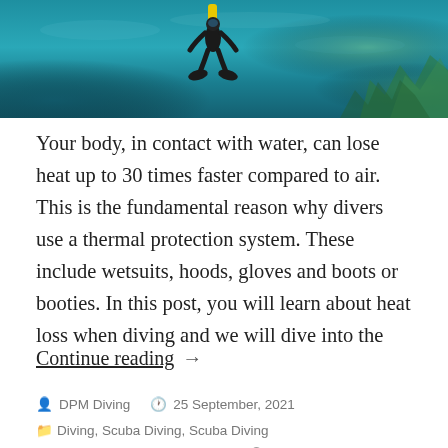[Figure (photo): Underwater photo showing a scuba diver swimming above a coral reef in blue-green water, viewed from below. The diver is wearing black gear with a yellow tank.]
Your body, in contact with water, can lose heat up to 30 times faster compared to air. This is the fundamental reason why divers use a thermal protection system. These include wetsuits, hoods, gloves and boots or booties. In this post, you will learn about heat loss when diving and we will dive into the
Continue reading →
DPM Diving   25 September, 2021
Diving, Scuba Diving, Scuba Diving
dive gear, diving, scuba diving   Leave a comment